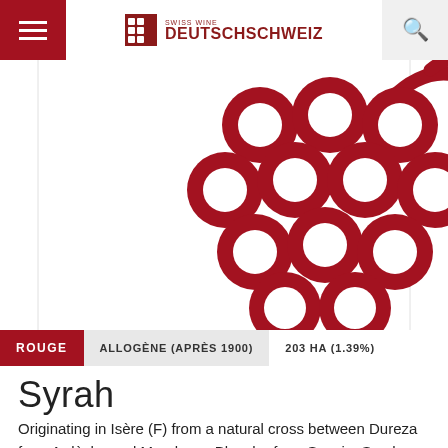Swiss Wine Deutschschweiz
[Figure (logo): Swiss Wine Deutschschweiz logo with stylized grape bunch icon in dark red]
[Figure (illustration): Large red grape cluster logo illustration on white background]
ROUGE  ALLOGÈNE (APRÈS 1900)  203 HA (1.39%)
Syrah
Originating in Isère (F) from a natural cross between Dureza from Ardèche and Mondeuse Blanche from Savoie, Syrah gets its name from the Latin serus (meaning late), in reference to its late ripening.